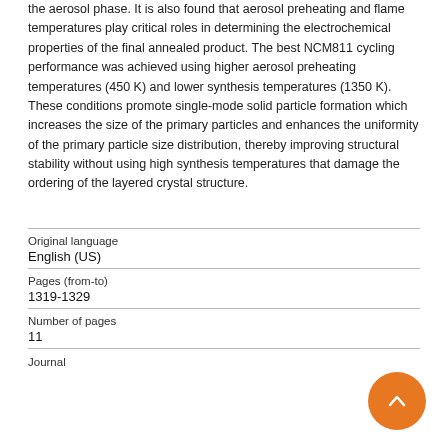the aerosol phase. It is also found that aerosol preheating and flame temperatures play critical roles in determining the electrochemical properties of the final annealed product. The best NCM811 cycling performance was achieved using higher aerosol preheating temperatures (450 K) and lower synthesis temperatures (1350 K). These conditions promote single-mode solid particle formation which increases the size of the primary particles and enhances the uniformity of the primary particle size distribution, thereby improving structural stability without using high synthesis temperatures that damage the ordering of the layered crystal structure.
| Original language | English (US) |
| Pages (from-to) | 1319-1329 |
| Number of pages | 11 |
| Journal |  |